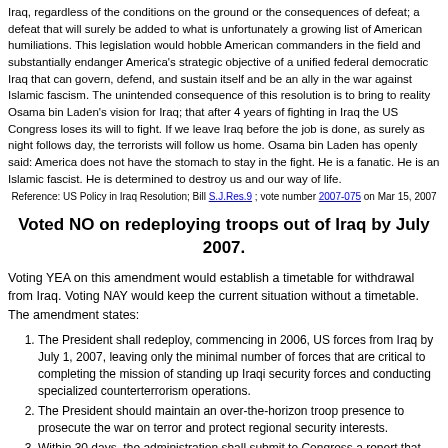Iraq, regardless of the conditions on the ground or the consequences of defeat; a defeat that will surely be added to what is unfortunately a growing list of American humiliations. This legislation would hobble American commanders in the field and substantially endanger America's strategic objective of a unified federal democratic Iraq that can govern, defend, and sustain itself and be an ally in the war against Islamic fascism. The unintended consequence of this resolution is to bring to reality Osama bin Laden's vision for Iraq; that after 4 years of fighting in Iraq the US Congress loses its will to fight. If we leave Iraq before the job is done, as surely as night follows day, the terrorists will follow us home. Osama bin Laden has openly said: America does not have the stomach to stay in the fight. He is a fanatic. He is an Islamic fascist. He is determined to destroy us and our way of life.
Reference: US Policy in Iraq Resolution; Bill S.J.Res.9 ; vote number 2007-075 on Mar 15, 2007
Voted NO on redeploying troops out of Iraq by July 2007.
Voting YEA on this amendment would establish a timetable for withdrawal from Iraq. Voting NAY would keep the current situation without a timetable. The amendment states:
The President shall redeploy, commencing in 2006, US forces from Iraq by July 1, 2007, leaving only the minimal number of forces that are critical to completing the mission of standing up Iraqi security forces and conducting specialized counterterrorism operations.
The President should maintain an over-the-horizon troop presence to prosecute the war on terror and protect regional security interests.
Within 30 days, the administration shall submit to Congress a report that sets forth the strategy for the redeployment of US forces from Iraq by July 1, 2007.